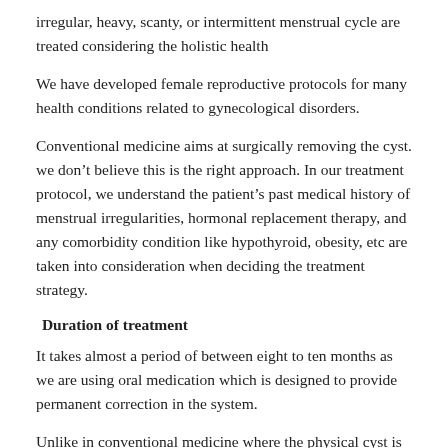irregular, heavy, scanty, or intermittent menstrual cycle are treated considering the holistic health
We have developed female reproductive protocols for many health conditions related to gynecological disorders.
Conventional medicine aims at surgically removing the cyst. we don’t believe this is the right approach. In our treatment protocol, we understand the patient’s past medical history of menstrual irregularities, hormonal replacement therapy, and any comorbidity condition like hypothyroid, obesity, etc are taken into consideration when deciding the treatment strategy.
Duration of treatment
It takes almost a period of between eight to ten months as we are using oral medication which is designed to provide permanent correction in the system.
Unlike in conventional medicine where the physical cyst is treated surgically,